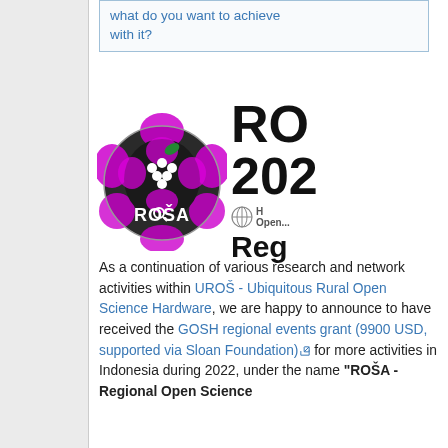what do you want to achieve with it?
[Figure (logo): ROŠA logo: a stylized dark rose with magenta/purple coloring containing grape clusters and 'ROŠA' text with a magnifying glass]
RO 2022 Reg
As a continuation of various research and network activities within UROŠ - Ubiquitous Rural Open Science Hardware, we are happy to announce to have received the GOSH regional events grant (9900 USD, supported via Sloan Foundation) for more activities in Indonesia during 2022, under the name "ROŠA - Regional Open Science